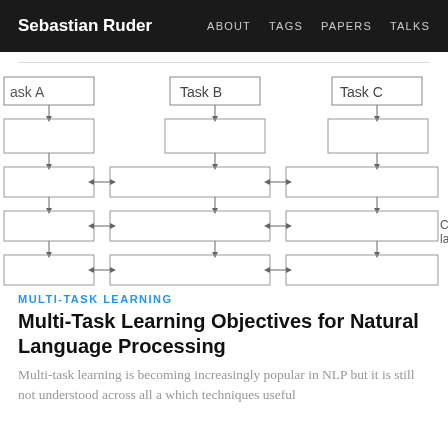Sebastian Ruder | ABOUT  TAGS  PAPERS  TALKS
[Figure (flowchart): Multi-task learning architecture diagram showing Task A, Task B, Task C at the top with boxes connected by arrows. Below each task-specific output box are shared horizontal layers labeled 'Con laye' (Convolutional layers) with bidirectional arrows connecting the three columns of boxes, representing shared and task-specific representation layers.]
MULTI-TASK LEARNING
Multi-Task Learning Objectives for Natural Language Processing
Multi-task learning is becoming increasingly popular in NLP but it is still not understood across all a which techniques useful